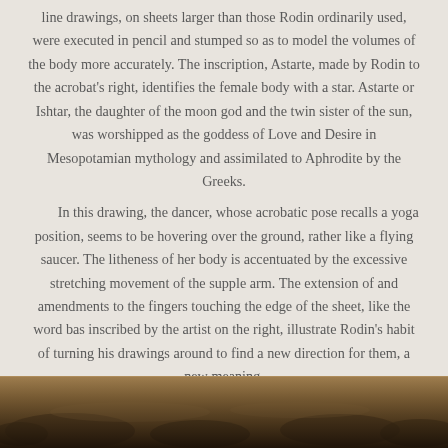line drawings, on sheets larger than those Rodin ordinarily used, were executed in pencil and stumped so as to model the volumes of the body more accurately. The inscription, Astarte, made by Rodin to the acrobat's right, identifies the female body with a star. Astarte or Ishtar, the daughter of the moon god and the twin sister of the sun, was worshipped as the goddess of Love and Desire in Mesopotamian mythology and assimilated to Aphrodite by the Greeks.

In this drawing, the dancer, whose acrobatic pose recalls a yoga position, seems to be hovering over the ground, rather like a flying saucer. The litheness of her body is accentuated by the excessive stretching movement of the supple arm. The extension of and amendments to the fingers touching the edge of the sheet, like the word bas inscribed by the artist on the right, illustrate Rodin's habit of turning his drawings around to find a new direction for them, a new meaning.
[Figure (photo): Bottom strip showing a dark landscape or artwork image, partially visible at the bottom of the page.]